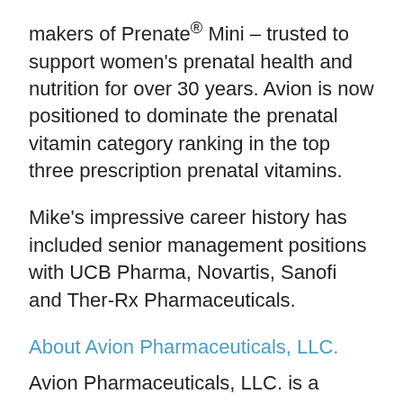makers of Prenate® Mini – trusted to support women's prenatal health and nutrition for over 30 years. Avion is now positioned to dominate the prenatal vitamin category ranking in the top three prescription prenatal vitamins.
Mike's impressive career history has included senior management positions with UCB Pharma, Novartis, Sanofi and Ther-Rx Pharmaceuticals.
About Avion Pharmaceuticals, LLC.
Avion Pharmaceuticals, LLC. is a Specialty Pharmaceutical company formed to develop and market a portfolio of